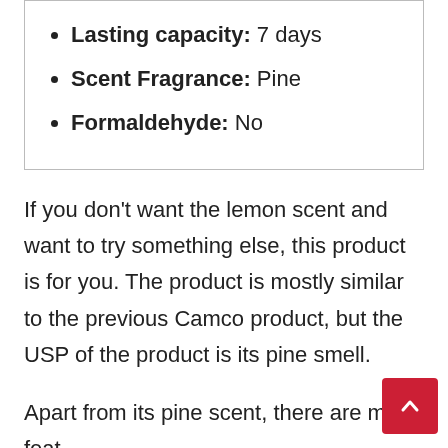Lasting capacity: 7 days
Scent Fragrance: Pine
Formaldehyde: No
If you don't want the lemon scent and want to try something else, this product is for you. The product is mostly similar to the previous Camco product, but the USP of the product is its pine smell.
Apart from its pine scent, there are many features and functionalities of the product, such as its odor...